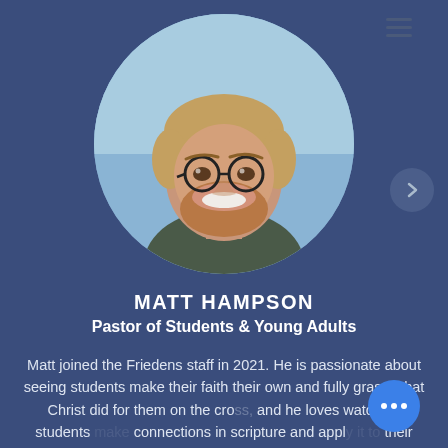[Figure (photo): Circular profile photo of Matt Hampson, a smiling man with glasses and a beard, wearing a dark t-shirt against a blue sky background]
MATT HAMPSON
Pastor of Students & Young Adults
Matt joined the Friedens staff in 2021. He is passionate about seeing students make their faith their own and fully grasp what Christ did for them on the cross, and he loves watching students make connections in scripture and apply it to their lives. Matt graduated from Moody